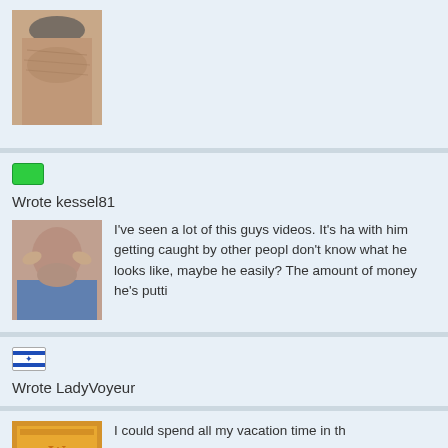[Figure (photo): Partial photo of a person visible at top of page]
Wrote kessel81
[Figure (photo): Thumbnail image next to comment text]
I've seen a lot of this guys videos. It's ha with him getting caught by other peopl don't know what he looks like, maybe he easily? The amount of money he's putti
Wrote LadyVoyeur
[Figure (photo): Thumbnail image at bottom of page]
I could spend all my vacation time in th